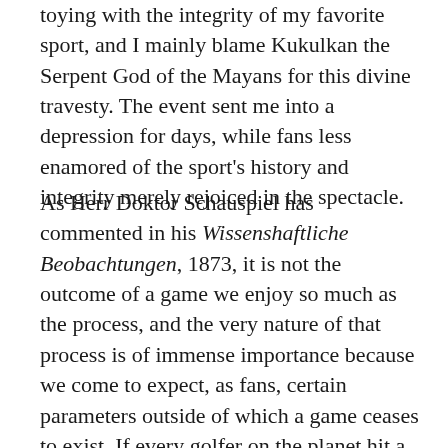toying with the integrity of my favorite sport, and I mainly blame Kukulkan the Serpent God of the Mayans for this divine travesty. The event sent me into a depression for days, while fans less enamored of the sport's history and integrity merely rejoiced in the spectacle.
As Herr Doktor Schauspiel has commented in his Wissenshaftliche Beobachtungen, 1873, it is not the outcome of a game we enjoy so much as the process, and the very nature of that process is of immense importance because we come to expect, as fans, certain parameters outside of which a game ceases to exist. If every golfer on the planet hit a hole-in-one at the same time, could one believe in golf anymore? No, golf would cease to exist as a game, just as if a soccer goalie were to kick a goal from the distance of his own goal it would inherently violate the statistical probabilities of soccer. As Jose DeSilva observed in his Partidos, Juegos y Jugetes (1944), "Games are not to be toyed with." Likewise the fine historian, Fetterbach, an Americanophile, maintained that if Custer had won the Battle of the Little Big Horn, war would by and large be meaningless. Custer had to lose to make war valid. In a world of infinite probabilities, where an army of monkeys